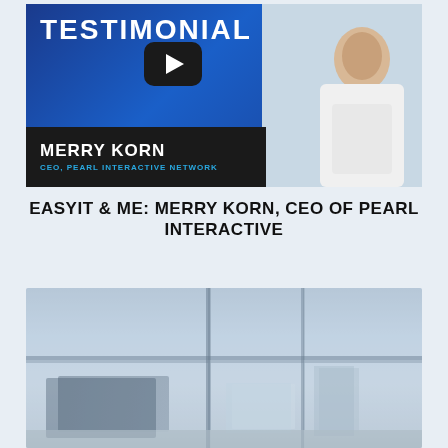[Figure (photo): Video thumbnail showing a woman in a white blouse with a play button overlay, text reading TESTIMONIAL, name bar with MERRY KORN, CEO, PEARL INTERACTIVE NETWORK on a dark background with blue gradient]
EASYIT & ME: MERRY KORN, CEO OF PEARL INTERACTIVE
[Figure (photo): Blurred office interior with glass walls and structural columns, bluish-gray tones]